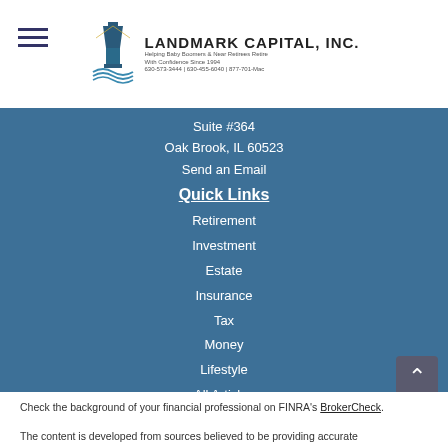Landmark Capital, Inc.
Suite #364
Oak Brook, IL 60523
Send an Email
Quick Links
Retirement
Investment
Estate
Insurance
Tax
Money
Lifestyle
All Articles
All Videos
All Calculators
All Presentations
Check the background of your financial professional on FINRA's BrokerCheck.
The content is developed from sources believed to be providing accurate...